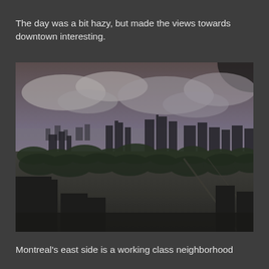The day was a bit hazy, but made the views towards downtown interesting.
[Figure (photo): Aerial hazy view of Montreal's downtown skyline with city sprawl, trees, and cloudy sky in the foreground showing east side residential neighborhoods]
Montreal's east side is a working class neighborhood